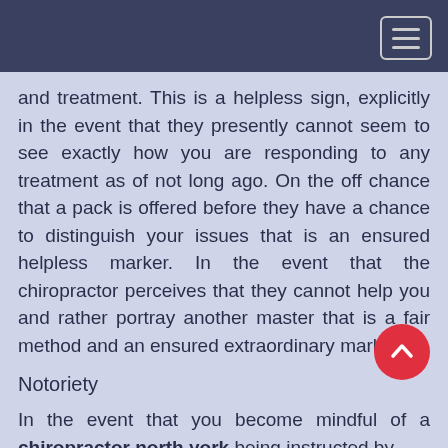and treatment. This is a helpless sign, explicitly in the event that they presently cannot seem to see exactly how you are responding to any treatment as of not long ago. On the off chance that a pack is offered before they have a chance to distinguish your issues that is an ensured helpless marker. In the event that the chiropractor perceives that they cannot help you and rather portray another master that is a fair method and an ensured extraordinary marker.
Notoriety
In the event that you become mindful of a chiropractor north york being instructed by